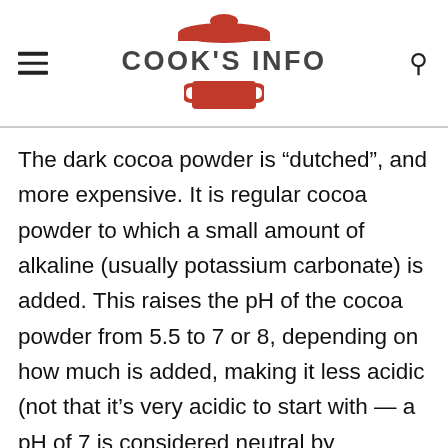COOK'S INFO
The dark cocoa powder is “dutched”, and more expensive. It is regular cocoa powder to which a small amount of alkaline (usually potassium carbonate) is added. This raises the pH of the cocoa powder from 5.5 to 7 or 8, depending on how much is added, making it less acidic (not that it’s very acidic to start with — a pH of 7 is considered neutral by science.) Th...